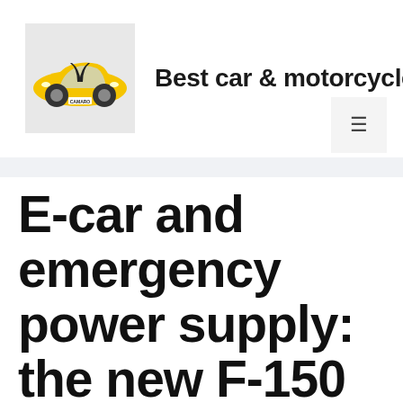Best car & motorcycle
[Figure (photo): Yellow Chevrolet Camaro car logo image]
E-car and emergency power supply: the new F-150 lightnin...